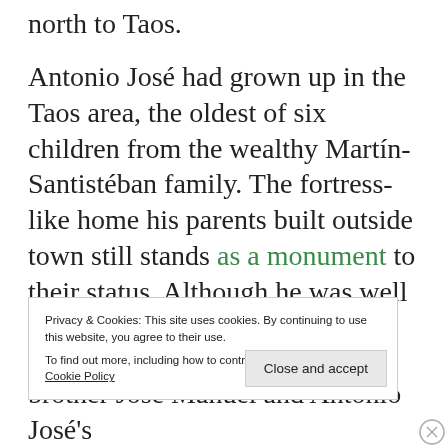north to Taos.
Antonio José had grown up in the Taos area, the oldest of six children from the wealthy Martín-Santistéban family. The fortress-like home his parents built outside town still stands as a monument to their status. Although he was well educated, his family had
Privacy & Cookies: This site uses cookies. By continuing to use this website, you agree to their use.
To find out more, including how to control cookies, see here: Cookie Policy
Close and accept
brother José Manuel and Antonio José's